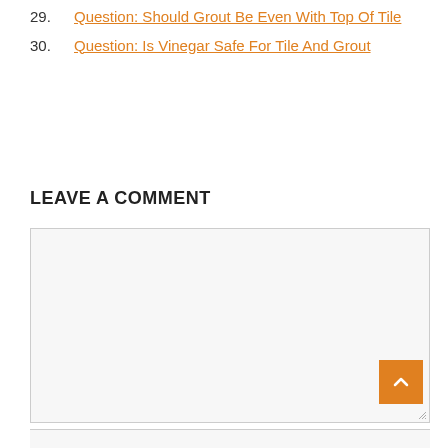29. Question: Should Grout Be Even With Top Of Tile
30. Question: Is Vinegar Safe For Tile And Grout
LEAVE A COMMENT
[Figure (screenshot): Large empty comment text area input box with a light gray background and border, with a resize handle in the bottom right corner. An orange back-to-top button with a white upward chevron arrow is overlaid at the bottom right of the textarea.]